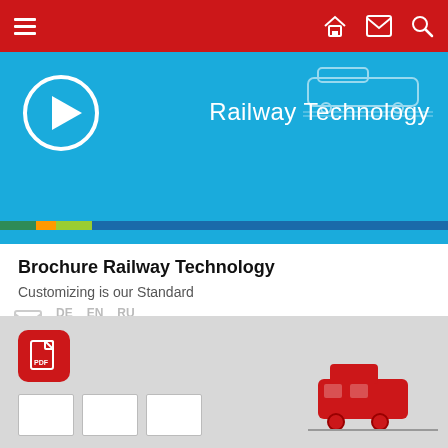Navigation bar with hamburger menu, home, mail, search icons
[Figure (screenshot): Blue banner showing Railway Technology video thumbnail with play button circle and a colorful progress bar at the bottom]
Brochure Railway Technology
Customizing is our Standard
DE  EN  RU download links with mail icon
[Figure (screenshot): Light grey PDF card showing a red PDF icon in top-left corner and thumbnail images along the bottom with a red railway vehicle illustration on the right]